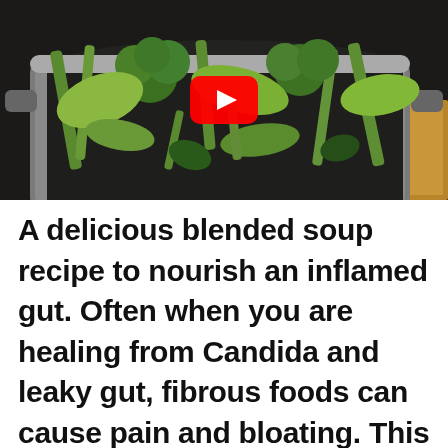[Figure (photo): A large metal cooking pot filled with chopped green vegetables including broccoli, celery, and other greens, sitting on a stovetop. A YouTube play button icon (red rounded rectangle with white triangle) is overlaid in the center of the image.]
A delicious blended soup recipe to nourish an inflamed gut. Often when you are healing from Candida and leaky gut, fibrous foods can cause pain and bloating. This soup can remedy the discomfort